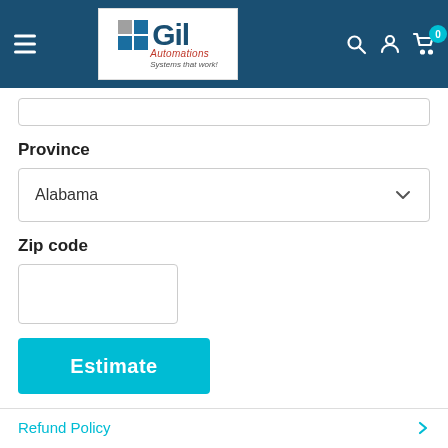[Figure (logo): Gil Automations logo — grid of colored squares, bold GIL text, tagline 'Systems that work!']
Province
Alabama
Zip code
Estimate
Refund Policy